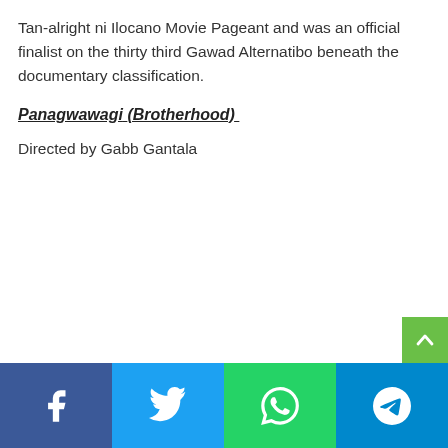Tan-alright ni Ilocano Movie Pageant and was an official finalist on the thirty third Gawad Alternatibo beneath the documentary classification.
Panagwawagi (Brotherhood)
Directed by Gabb Gantala
Social share bar: Facebook, Twitter, WhatsApp, Telegram